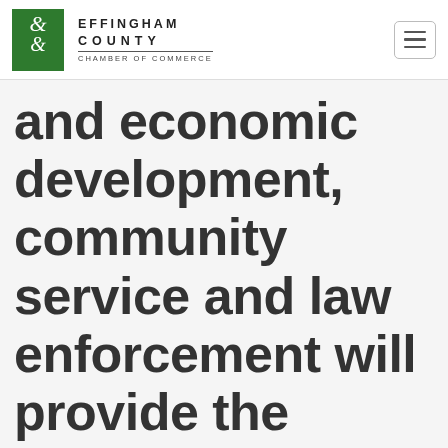Effingham County Chamber of Commerce
and economic development, community service and law enforcement will provide the course content